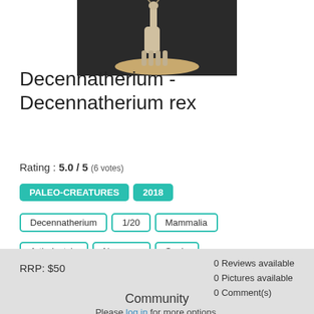[Figure (photo): A photograph of a Decennatherium figurine (tall giraffe-like animal) on a sandy/rocky base, against a dark background.]
Decennatherium - Decennatherium rex
Rating : 5.0 / 5 (6 votes)
PALEO-CREATURES
2018
Decennatherium
1/20
Mammalia
Artiodactyla
Neogene
Spain
RRP: $50
0 Reviews available
0 Pictures available
0 Comment(s)
Community
1 own this
5 want it
Please log in for more options.